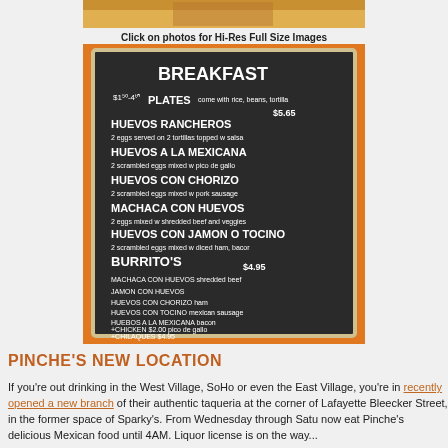[Figure (photo): Partial top image of a restaurant scene with orange/warm tones]
Click on photos for Hi-Res Full Size Images
[Figure (photo): Chalkboard breakfast menu at Pinche taqueria showing items like Huevos Rancheros, Huevos a la Mexicana, Huevos con Chorizo, Machaca con Huevos, Huevos con Jamon o Tocino, and Burritos with prices $5.65 and $4.95]
PINCHE'S NEW LOCATION
If you're out drinking in the West Village, SoHo or even the East Village, you're in recently opened a new branch of their authentic taqueria at the corner of Lafayette Bleecker Street, in the former space of Sparky's. From Wednesday through Saturday now eat Pinche's delicious Mexican food until 4AM. Liquor license is on the way...